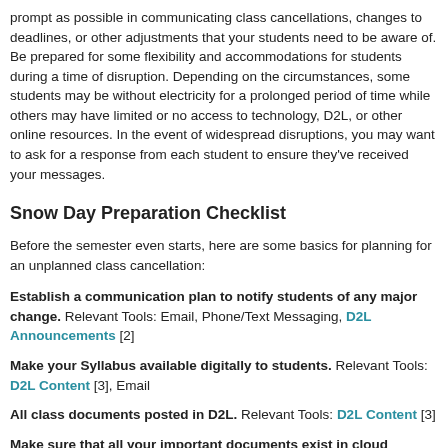prompt as possible in communicating class cancellations, changes to deadlines, or other adjustments that your students need to be aware of. Be prepared for some flexibility and accommodations for students during a time of disruption. Depending on the circumstances, some students may be without electricity for a prolonged period of time while others may have limited or no access to technology, D2L, or other online resources. In the event of widespread disruptions, you may want to ask for a response from each student to ensure they've received your messages.
Snow Day Preparation Checklist
Before the semester even starts, here are some basics for planning for an unplanned class cancellation:
Establish a communication plan to notify students of any major change. Relevant Tools: Email, Phone/Text Messaging, D2L Announcements [2]
Make your Syllabus available digitally to students. Relevant Tools: D2L Content [3], Email
All class documents posted in D2L. Relevant Tools: D2L Content [3]
Make sure that all your important documents exist in cloud storage. As a